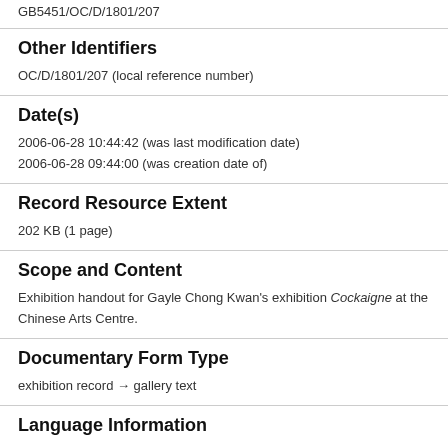GB5451/OC/D/1801/207
Other Identifiers
OC/D/1801/207 (local reference number)
Date(s)
2006-06-28 10:44:42 (was last modification date)
2006-06-28 09:44:00 (was creation date of)
Record Resource Extent
202 KB (1 page)
Scope and Content
Exhibition handout for Gayle Chong Kwan's exhibition Cockaigne at the Chinese Arts Centre.
Documentary Form Type
exhibition record → gallery text
Language Information
English (has or had language) Latin (has script)